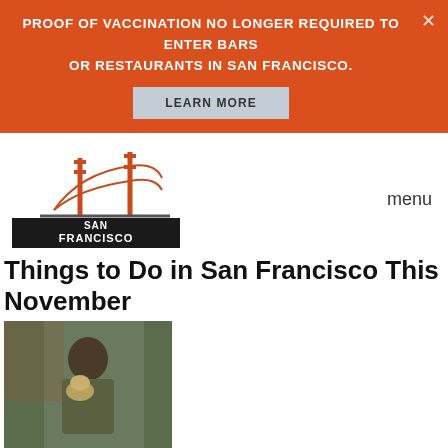PROOF OF VACCINATION NO LONGER REQUIRED TO ENTER BARS OR RESTAURANTS IN SAN FRANCISCO.
LEARN MORE
[Figure (logo): San Francisco logo with Golden Gate Bridge illustration and 'SAN FRANCISCO' text on black banner]
menu
Things to Do in San Francisco This November
[Figure (photo): Person holding a cat outdoors]
Fri, 11/15/2019 - 14:13 — Dan Rosenbaum
[Figure (photo): San Francisco city skyline with warm orange/golden haze]